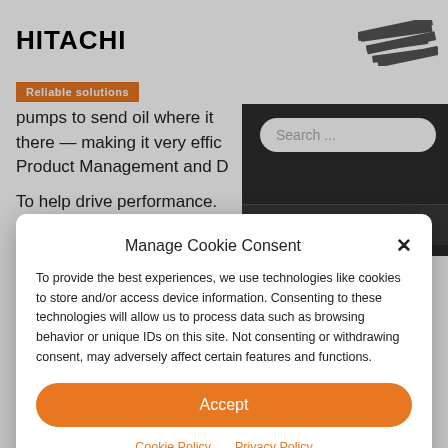[Figure (logo): Hitachi logo with three diagonal stripe icon in the top right]
Reliable solutions
pumps to send oil where it there — making it very effic Product Management and D
To help drive performance.
Manage Cookie Consent
To provide the best experiences, we use technologies like cookies to store and/or access device information. Consenting to these technologies will allow us to process data such as browsing behavior or unique IDs on this site. Not consenting or withdrawing consent, may adversely affect certain features and functions.
Accept
Cookie Policy  Privacy Policy